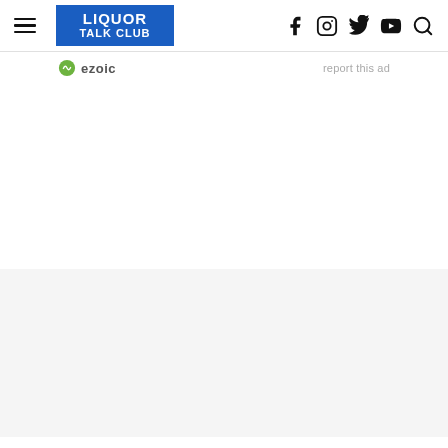LIQUOR TALK CLUB — navigation header with hamburger menu, logo, and social icons (f, Instagram, Twitter, YouTube, Search)
ezoic   report this ad
[Figure (other): Blank white advertisement placeholder area]
[Figure (other): Gray advertisement placeholder area]